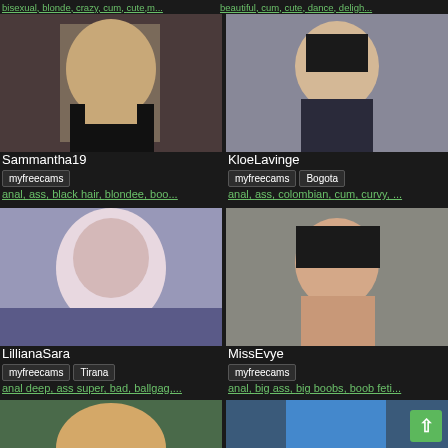bisexual, blonde, crazy, cum, cute,m... | beautiful, cum, cute, dance, delight...
[Figure (photo): Profile photo of Sammantha19 - woman in black outfit]
Sammantha19
myfreecams
anal, ass, black hair, blondee, boo...
[Figure (photo): Profile photo of KloeLavinge - woman with black hair]
KloeLavinge
myfreecams  Bogota
anal, ass, colombian, cum, curvy, ...
[Figure (photo): Profile photo of LillianaSara - woman with pink hair]
LillianaSara
myfreecams  Tirana
anal deep, ass super, bad, ballgag,...
[Figure (photo): Profile photo of MissEvye - woman with dark hair]
MissEvye
myfreecams
anal, big ass, big boobs, boob feti...
[Figure (photo): Partial photo bottom left - blonde woman]
[Figure (photo): Partial photo bottom right - woman in blue]